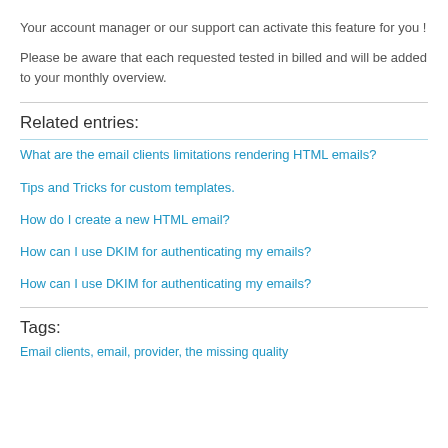Your account manager or our support can activate this feature for you !
Please be aware that each requested tested in billed and will be added to your monthly overview.
Related entries:
What are the email clients limitations rendering HTML emails?
Tips and Tricks for custom templates.
How do I create a new HTML email?
How can I use DKIM for authenticating my emails?
How can I use DKIM for authenticating my emails?
Tags:
Email clients, email, provider, the missing quality